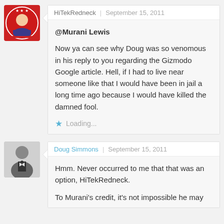HiTekRedneck | September 15, 2011
@Murani Lewis

Now ya can see why Doug was so venomous in his reply to you regarding the Gizmodo Google article. Hell, if I had to live near someone like that I would have been in jail a long time ago because I would have killed the damned fool.

Loading...
Doug Simmons | September 15, 2011
Hmm. Never occurred to me that that was an option, HiTekRedneck.

To Murani's credit, it's not impossible he may